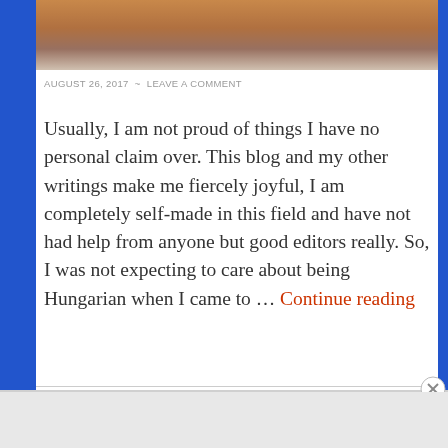[Figure (photo): Top portion of an outdoor photo showing brick/bleacher structure and a person in red shirt standing on steps]
AUGUST 26, 2017  ~  LEAVE A COMMENT
Usually, I am not proud of things I have no personal claim over. This blog and my other writings make me fiercely joyful, I am completely self-made in this field and have not had help from anyone but good editors really. So, I was not expecting to care about being Hungarian when I came to … Continue reading
[Figure (advertisement): DuckDuckGo advertisement banner: Search, browse, and email with more privacy. All in One Free App.]